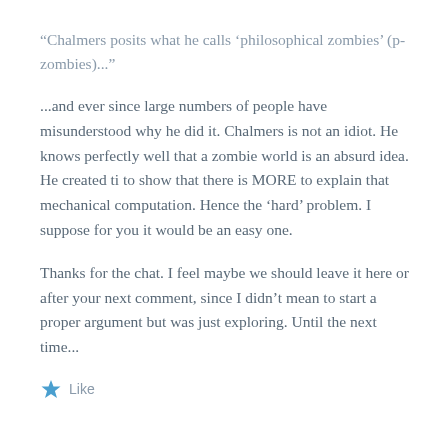“Chalmers posits what he calls ‘philosophical zombies’ (p-zombies)...”
...and ever since large numbers of people have misunderstood why he did it. Chalmers is not an idiot. He knows perfectly well that a zombie world is an absurd idea. He created ti to show that there is MORE to explain that mechanical computation. Hence the ‘hard’ problem. I suppose for you it would be an easy one.
Thanks for the chat. I feel maybe we should leave it here or after your next comment, since I didn’t mean to start a proper argument but was just exploring. Until the next time...
Like